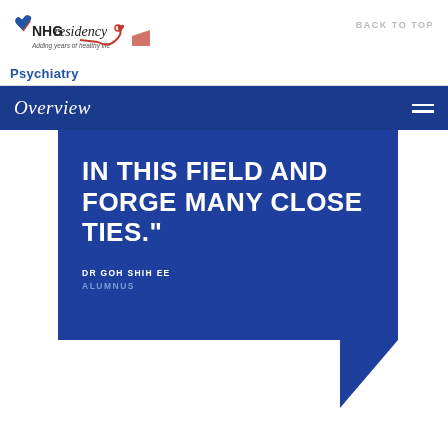[Figure (logo): NHG Residency logo with heart icon and stethoscope, text 'Adding years of healthy life']
Psychiatry
BACK TO TOP
Overview
IN THIS FIELD AND FORGE MANY CLOSE TIES."
DR GOH SHIH EE
ALUMNUS